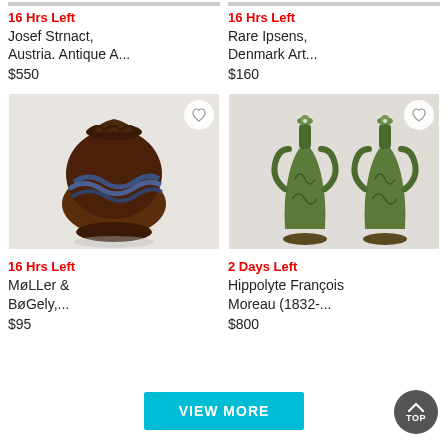16 Hrs Left
Josef Strnact, Austria. Antique A...
$550
16 Hrs Left
Rare Ipsens, Denmark Art...
$160
[Figure (photo): Dark brown ceramic vase with blue wave glaze pattern]
[Figure (photo): Pair of green antique vases with handles]
16 Hrs Left
M&#248;LLer & B&#248;Gely,...
$95
2 Days Left
Hippolyte François Moreau (1832-...
$800